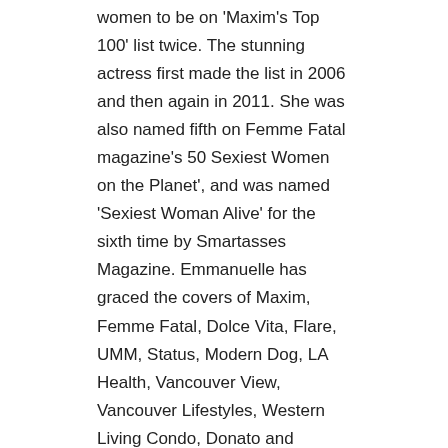through as Emmanuelle is among the select group of women to be on 'Maxim's Top 100' list twice. The stunning actress first made the list in 2006 and then again in 2011. She was also named fifth on Femme Fatal magazine's 50 Sexiest Women on the Planet', and was named 'Sexiest Woman Alive' for the sixth time by Smartasses Magazine. Emmanuelle has graced the covers of Maxim, Femme Fatal, Dolce Vita, Flare, UMM, Status, Modern Dog, LA Health, Vancouver View, Vancouver Lifestyles, Western Living Condo, Donato and Infamous.
Social Media Handles
Website: emmanuellevaugier.com, thefluffball.com, emmanuellevaugier.com/charity.htm
Twitter: @evaugier
Facebook: The Real Emmanuelle Vaugier